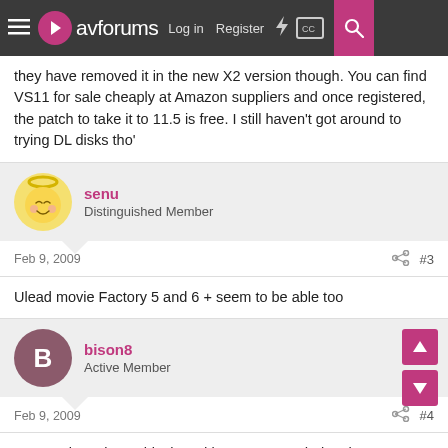avforums  Log in  Register
they have removed it in the new X2 version though. You can find VS11 for sale cheaply at Amazon suppliers and once registered, the patch to take it to 11.5 is free. I still haven't got around to trying DL disks tho'
senu
Distinguished Member
Feb 9, 2009  #3
Ulead movie Factory 5 and 6 + seem to be able too
bison8
Active Member
Feb 9, 2009  #4
Sorry to jump in on this thread but I was wondering the same